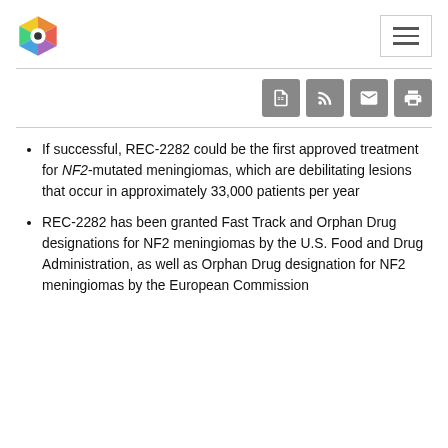[Logo and navigation header]
If successful, REC-2282 could be the first approved treatment for NF2-mutated meningiomas, which are debilitating lesions that occur in approximately 33,000 patients per year
REC-2282 has been granted Fast Track and Orphan Drug designations for NF2 meningiomas by the U.S. Food and Drug Administration, as well as Orphan Drug designation for NF2 meningiomas by the European Commission